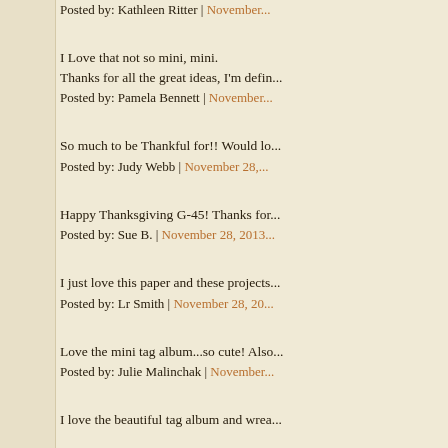Posted by: Kathleen Ritter | November...
I Love that not so mini, mini.
Thanks for all the great ideas, I'm defin...
Posted by: Pamela Bennett | November...
So much to be Thankful for!! Would lo...
Posted by: Judy Webb | November 28,...
Happy Thanksgiving G-45! Thanks for...
Posted by: Sue B. | November 28, 2013...
I just love this paper and these projects...
Posted by: Lr Smith | November 28, 20...
Love the mini tag album...so cute! Also...
Posted by: Julie Malinchak | November...
I love the beautiful tag album and wrea...